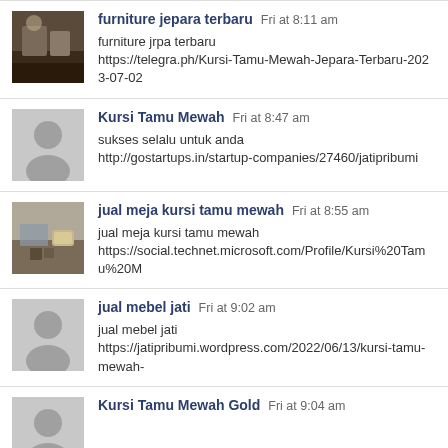furniture jepara terbaru  Fri at 8:11 am
furniture jrpa terbaru
https://telegra.ph/Kursi-Tamu-Mewah-Jepara-Terbaru-2023-07-02
Kursi Tamu Mewah  Fri at 8:47 am
sukses selalu untuk anda
http://gostartups.in/startup-companies/27460/jatipribumi
jual meja kursi tamu mewah  Fri at 8:55 am
jual meja kursi tamu mewah
https://social.technet.microsoft.com/Profile/Kursi%20Tamu%20M
jual mebel jati  Fri at 9:02 am
jual mebel jati
https://jatipribumi.wordpress.com/2022/06/13/kursi-tamu-mewah-
Kursi Tamu Mewah Gold  Fri at 9:04 am